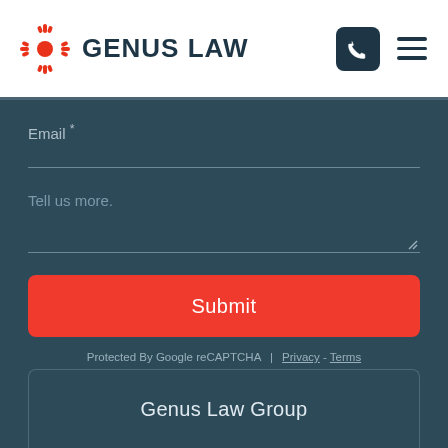[Figure (logo): Genus Law logo with red sun/gear symbol and dark blue bold text GENUS LAW, phone icon and hamburger menu in top right]
Email *
Tell us more.
Submit
Protected By Google reCAPTCHA | Privacy - Terms
Genus Law Group